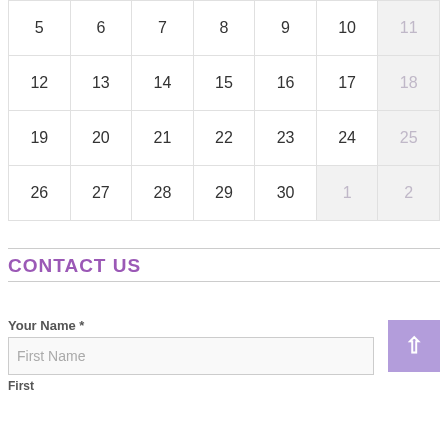| 5 | 6 | 7 | 8 | 9 | 10 | 11 |
| 12 | 13 | 14 | 15 | 16 | 17 | 18 |
| 19 | 20 | 21 | 22 | 23 | 24 | 25 |
| 26 | 27 | 28 | 29 | 30 | 1 | 2 |
CONTACT US
Your Name *
First Name
First